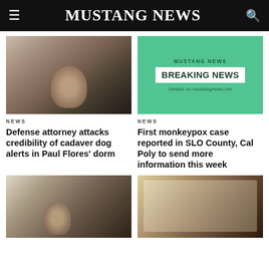MUSTANG NEWS
[Figure (photo): Woman speaking at a podium with hands raised, courtroom or meeting setting]
[Figure (infographic): Mustang News Breaking News green card with text: MUSTANG NEWS BREAKING NEWS Details on mustangnews.net]
NEWS
Defense attorney attacks credibility of cadaver dog alerts in Paul Flores' dorm
NEWS
First monkeypox case reported in SLO County, Cal Poly to send more information this week
[Figure (photo): Man in suit at a courtroom or meeting, seen from behind audience]
[Figure (photo): Projection screen showing a person, dark room setting]